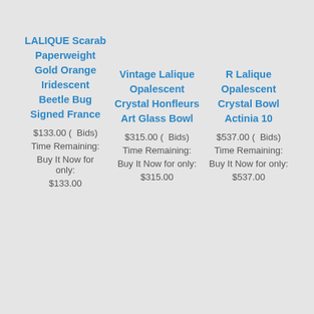LALIQUE Scarab Paperweight Gold Orange Iridescent Beetle Bug Signed France
$133.00 (  Bids)
Time Remaining:
Buy It Now for only:
$133.00
Vintage Lalique Opalescent Crystal Honfleurs Art Glass Bowl
$315.00 (  Bids)
Time Remaining:
Buy It Now for only:
$315.00
R Lalique Opalescent Crystal Bowl Actinia 10
$537.00 (  Bids)
Time Remaining:
Buy It Now for only:
$537.00